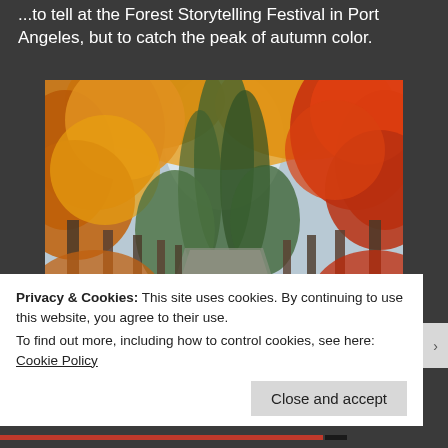...to tell at the Forest Storytelling Festival in Port Angeles, but to catch the peak of autumn color.
[Figure (photo): A road lined with trees showing brilliant autumn foliage in orange, red, and yellow colors. A speed limit 25 sign is visible on the right side. A watermark reads 'c2013NaomiBalt...']
Privacy & Cookies: This site uses cookies. By continuing to use this website, you agree to their use.
To find out more, including how to control cookies, see here: Cookie Policy
Close and accept